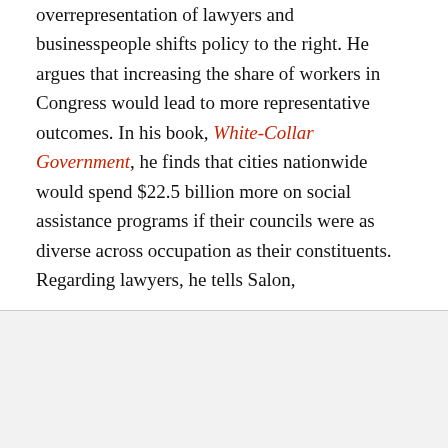overrepresentation of lawyers and businesspeople shifts policy to the right. He argues that increasing the share of workers in Congress would lead to more representative outcomes. In his book, White-Collar Government, he finds that cities nationwide would spend $22.5 billion more on social assistance programs if their councils were as diverse across occupation as their constituents. Regarding lawyers, he tells Salon,
Advertisement: